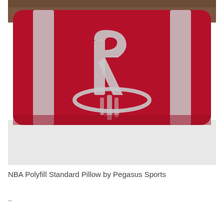[Figure (photo): Houston Rockets NBA Polyfill Standard Pillow with red fabric featuring the Rockets logo (stylized R with rocket and halo ring) and two vertical silver/grey stripes, placed on a white bed with a wooden headboard in the background.]
NBA Polyfill Standard Pillow by Pegasus Sports
–